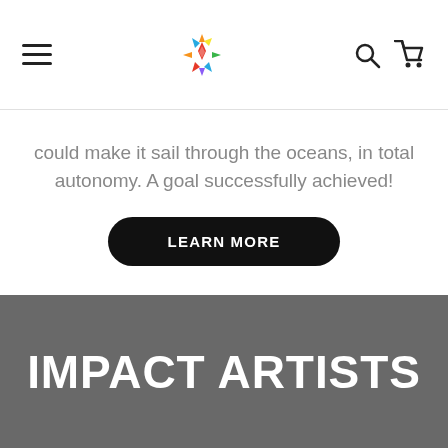Navigation bar with hamburger menu, logo, search and cart icons
could make it sail through the oceans, in total autonomy. A goal successfully achieved!
LEARN MORE
IMPACT ARTISTS